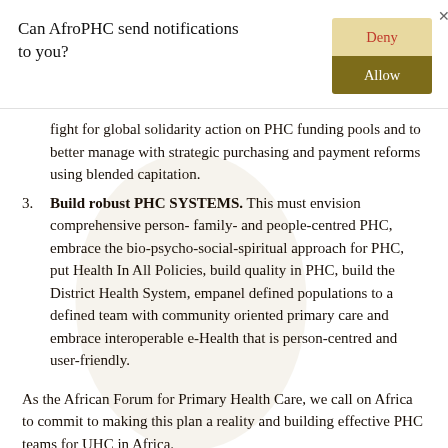[Figure (screenshot): Browser notification permission dialog with 'Can AfroPHC send notifications to you?' question, a Deny button (tan/beige background, red text) and an Allow button (dark olive/gold background, white text), with a close X button]
fight for global solidarity action on PHC funding pools and to better manage with strategic purchasing and payment reforms using blended capitation.
3. Build robust PHC SYSTEMS. This must envision comprehensive person- family- and people-centred PHC, embrace the bio-psycho-social-spiritual approach for PHC, put Health In All Policies, build quality in PHC, build the District Health System, empanel defined populations to a defined team with community oriented primary care and embrace interoperable e-Health that is person-centred and user-friendly.
As the African Forum for Primary Health Care, we call on Africa to commit to making this plan a reality and building effective PHC teams for UHC in Africa.